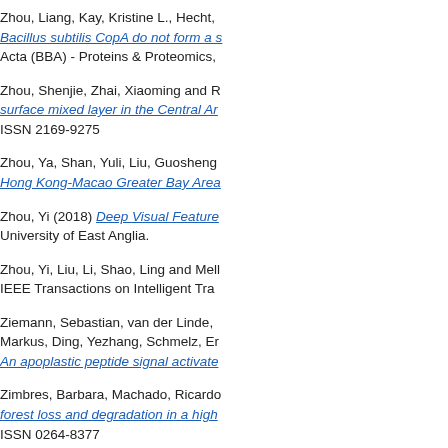Zhou, Liang, Kay, Kristine L., Hecht, ... Bacillus subtilis CopA do not form a s... Acta (BBA) - Proteins & Proteomics, ...
Zhou, Shenjie, Zhai, Xiaoming and R... surface mixed layer in the Central Ar... ISSN 2169-9275
Zhou, Ya, Shan, Yuli, Liu, Guosheng... Hong Kong-Macao Greater Bay Area...
Zhou, Yi (2018) Deep Visual Feature... University of East Anglia.
Zhou, Yi, Liu, Li, Shao, Ling and Mell... IEEE Transactions on Intelligent Tra...
Ziemann, Sebastian, van der Linde, ... Markus, Ding, Yezhang, Schmelz, Er... An apoplastic peptide signal activate...
Zimbres, Barbara, Machado, Ricardo... forest loss and degradation in a high... ISSN 0264-8377
Zimbres, Barbara, Peres, Carlos A., ... terrestrial mammals in a fragmented... 2836. ISSN 0960-3115
Zissis, Dimitris, Aktas, Emel and Bou... International Journal of Logistics M...